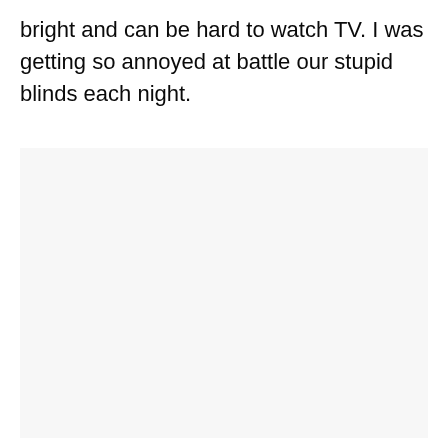bright and can be hard to watch TV. I was getting so annoyed at battle our stupid blinds each night.
[Figure (other): A large light-colored rectangular image placeholder area with a pale off-white/light gray background, no visible content.]